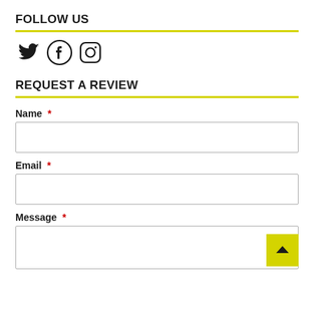FOLLOW US
[Figure (illustration): Social media icons: Twitter bird, Facebook logo, Instagram camera logo]
REQUEST A REVIEW
Name *
Email *
Message *